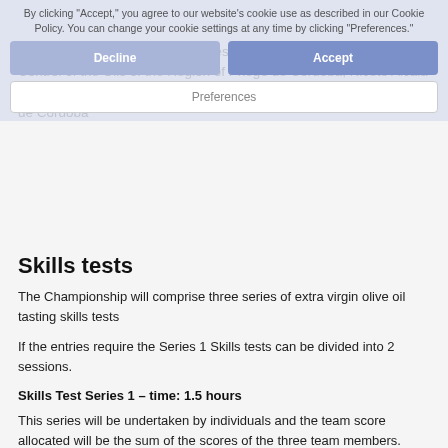The event will be held at the offices of the Association for Quality Control of the Oils of the Region of Priego de Cordoba, Niceto Alcala Zamora Avda, Urban Park Multipurpose - Hall of Arts, 14800, Priego de Córdoba
Skills tests
The Championship will comprise three series of extra virgin olive oil tasting skills tests
If the entries require the Series 1 Skills tests can be divided into 2 sessions.
Skills Test Series 1 – time: 1.5 hours
This series will be undertaken by individuals and the team score allocated will be the sum of the scores of the three team members.
There will be no collaboration between team members.
The tests will be:
Rancidity ranking test – 5 points
Flavour Intensity ranking test – 5 points